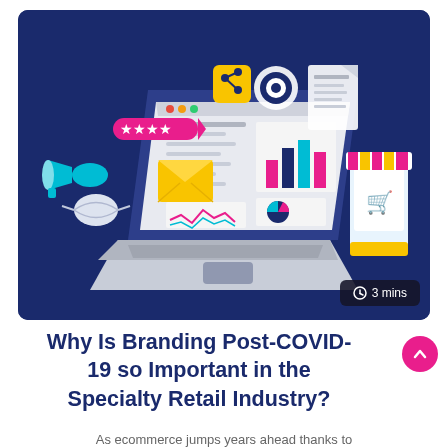[Figure (illustration): Dark navy blue illustrated banner showing a laptop with analytics dashboard, megaphone, face mask, email envelope, share icon, target/bullseye icon, and a mobile storefront with awning — digital marketing and ecommerce themed isometric illustration. A badge in the bottom right reads '3 mins' with a clock icon.]
Why Is Branding Post-COVID-19 so Important in the Specialty Retail Industry?
As ecommerce jumps years ahead thanks to